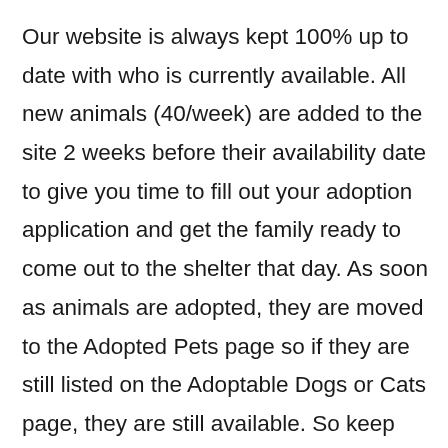Our website is always kept 100% up to date with who is currently available. All new animals (40/week) are added to the site 2 weeks before their availability date to give you time to fill out your adoption application and get the family ready to come out to the shelter that day. As soon as animals are adopted, they are moved to the Adopted Pets page so if they are still listed on the Adoptable Dogs or Cats page, they are still available. So keep any eye on the site for any animals being added as available for adoption as new animals are added everyday! We would recommend if you haven't done so already